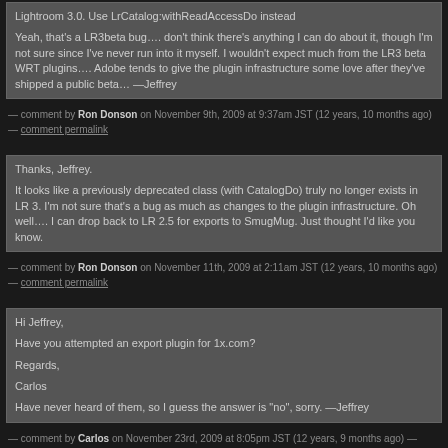Lightroom 3.0. Use LrCatalog:withReadAccessDo instead

Yeah, that’s a LR3beta bug…. don’t think there’s anything I can do about it, though I’m not sure since I’ve never run into it myself. I wouldn’t expect much from the LR3 beta WRT plugins…. Adobe tends to give the plugin infrastructure some love after they’ve shipped a public beta… —Jeffrey
— comment by Ron Donson on November 9th, 2009 at 9:37am JST (12 years, 10 months ago) — comment permalink
Thanks, Jeffrey.

It looks like a previously deprecated class (with CatalogDo) truly no longer exists in LR 3. I’m not sure that’s a bug as much as changes to the plugin infrastructure. Oh well…. I can drop back to LR 2.5 for exports to SmugMug. Just thought I’d like you know.
— comment by Ron Donson on November 11th, 2009 at 2:11am JST (12 years, 10 months ago) — comment permalink
Hi Jeffrey,

Have you attempted an export plugin for 1x.com?

Regards,

Carlos

Have never heard of them, so I guess the answer is “no”, sorry. —Jeffrey
— comment by Carlos on November 23rd, 2009 at 8:05pm JST (12 years, 9 months ago) — comment permalink
For t...